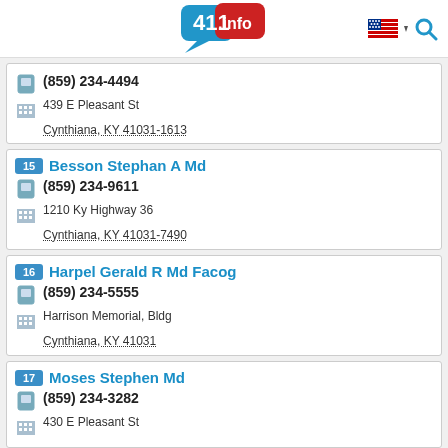411.info
(859) 234-4494
439 E Pleasant St
Cynthiana, KY 41031-1613
15 Besson Stephan A Md
(859) 234-9611
1210 Ky Highway 36
Cynthiana, KY 41031-7490
16 Harpel Gerald R Md Facog
(859) 234-5555
Harrison Memorial, Bldg
Cynthiana, KY 41031
17 Moses Stephen Md
(859) 234-3282
430 E Pleasant St